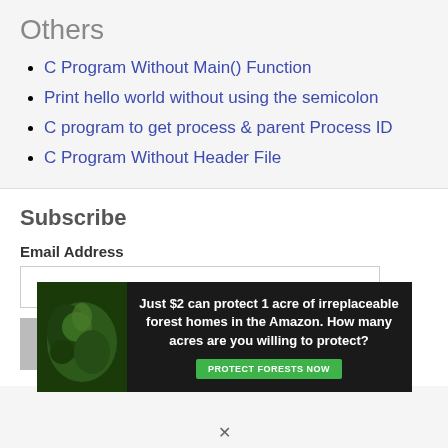Others
C Program Without Main() Function
Print hello world without using the semicolon
C program to get process & parent Process ID
C Program Without Header File
Subscribe
Email Address
[Figure (other): Advertisement banner: Just $2 can protect 1 acre of irreplaceable forest homes in the Amazon. How many acres are you willing to protect? PROTECT FORESTS NOW]